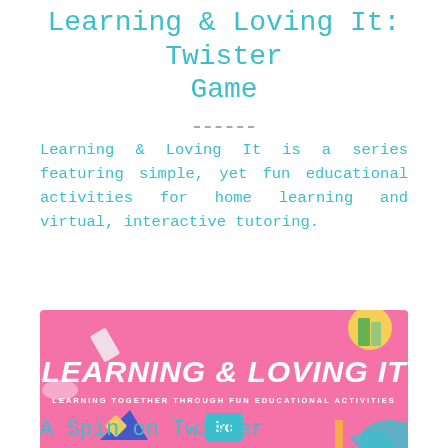Learning & Loving It: Twister Game
Learning & Loving It is a series featuring simple, yet fun educational activities for home learning and virtual, interactive tutoring.
[Figure (illustration): Pink banner graphic with 'LEARNING & LOVING IT' in large bold italic white text, subtitle 'LEARNING TOGETHER THROUGH FUN EDUCATIONAL ACTIVITIES', teal LRC logo box, surrounded by colorful school supply decorations on pink background.]
A Spin on Twister